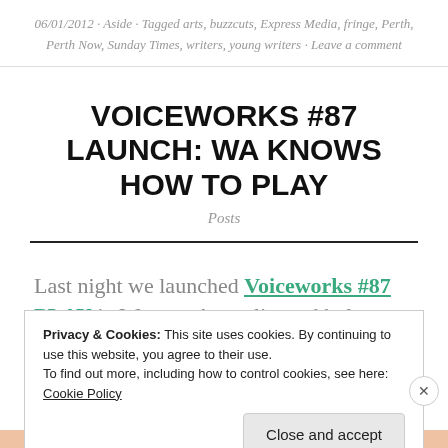06/01/2012 · Aside · Tagged arts, buzzcuts, Express Media, fringe, Perth, Perth Now, Sunday Times, writers, young writers · Leave a comment
VOICEWORKS #87 LAUNCH: WA KNOWS HOW TO PLAY
Posts
Last night we launched Voiceworks #87 PLAY in Western Australia, and holy moly it was awesome.
Privacy & Cookies: This site uses cookies. By continuing to use this website, you agree to their use. To find out more, including how to control cookies, see here: Cookie Policy